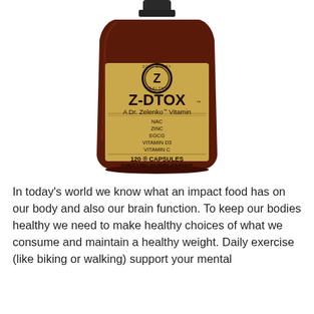[Figure (photo): Z-DTOX supplement bottle — a dark amber/brown glass bottle with a gold label. The label shows a circular logo with 'Z' and text 'DONT WORRY HEALTHY', the product name 'Z-DTOX', subtitle 'A Dr. Zelenko Vitamin', ingredients listed as NAC, ZINC, EGCG, VITAMIN D3, VITAMIN C, and '120 CAPSULES DIETARY SUPPLEMENT' at the bottom.]
In today's world we know what an impact food has on our body and also our brain function. To keep our bodies healthy we need to make healthy choices of what we consume and maintain a healthy weight. Daily exercise (like biking or walking) support your mental